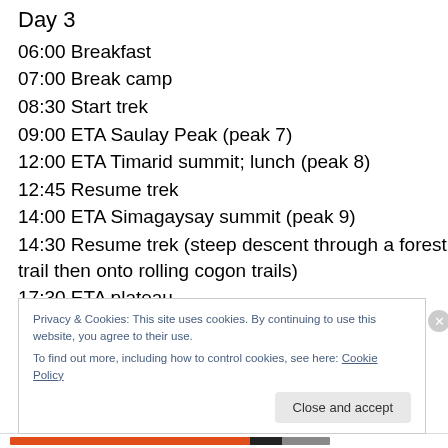Day 3
06:00 Breakfast
07:00 Break camp
08:30 Start trek
09:00 ETA Saulay Peak (peak 7)
12:00 ETA Timarid summit; lunch (peak 8)
12:45 Resume trek
14:00 ETA Simagaysay summit (peak 9)
14:30 Resume trek (steep descent through a forest trail then onto rolling cogon trails)
17:30 ETA plateau
Privacy & Cookies: This site uses cookies. By continuing to use this website, you agree to their use.
To find out more, including how to control cookies, see here: Cookie Policy
Close and accept